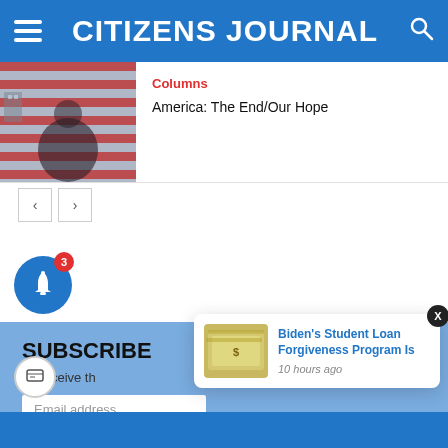CITIZENS JOURNAL
Columns
America: The End/Our Hope
[Figure (photo): Person holding or draped in an American flag, viewed from behind or side]
SUBSCRIBE
To receive th...
Email address
Biden's Student Loan Forgiveness Program Is
10 hours ago